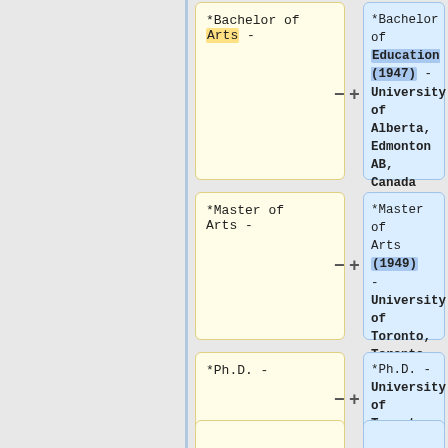*Bachelor of Arts -
*Bachelor of Education (1947) - University of Alberta, Edmonton AB, Canada
*Master of Arts -
*Master of Arts (1949) - University of Toronto, Toronto ON, Canada
*Ph.D. -
*Ph.D. - University of Toronto, Toronto ON, Canada